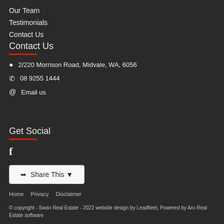Our Team
Testimonials
Contact Us
Contact Us
📍 2/220 Morrison Road, Midvale, WA, 6056
📞 08 9255 1444
@ Email us
Get Social
f
Share This
Home  Privacy  Disclaimer
© copyright - Swan Real Estate - 2022 website design by Leadfleet, Powered by Aro Real Estate software